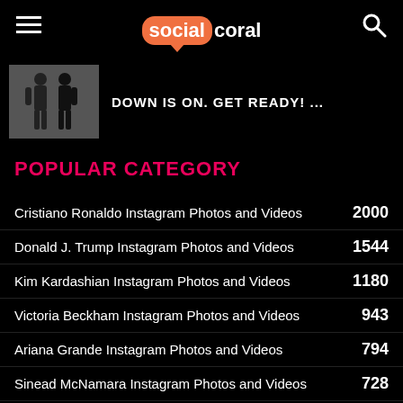social coral
[Figure (photo): Black and white photo of two people standing, teaser image for article with headline DOWN IS ON. GET READY! ...]
DOWN IS ON. GET READY! ...
POPULAR CATEGORY
Cristiano Ronaldo Instagram Photos and Videos 2000
Donald J. Trump Instagram Photos and Videos 1544
Kim Kardashian Instagram Photos and Videos 1180
Victoria Beckham Instagram Photos and Videos 943
Ariana Grande Instagram Photos and Videos 794
Sinead McNamara Instagram Photos and Videos 728
Will Smith Instagram Photos and Videos 664
David Beckham Instagram Photos and Videos 656
Leonardo DiCaprio Instagram Photos and Videos 581